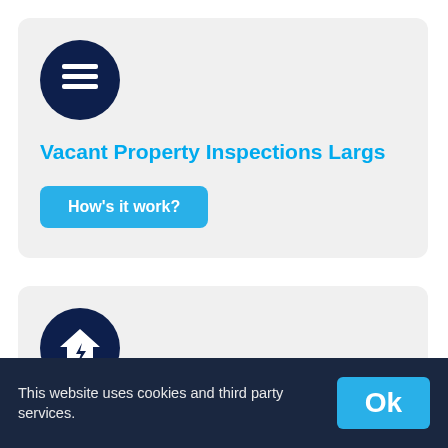[Figure (illustration): Dark navy circle icon with white list/bullet-list icon]
Vacant Property Inspections Largs
How's it work?
[Figure (illustration): Dark navy circle icon with white house/home icon]
Landlord Inspection Services Largs
This website uses cookies and third party services.
Ok